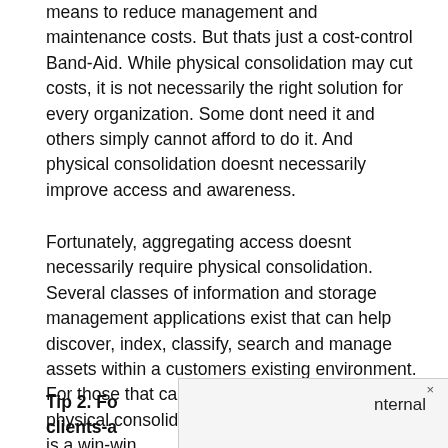means to reduce management and maintenance costs. But thats just a cost-control Band-Aid. While physical consolidation may cut costs, it is not necessarily the right solution for every organization. Some dont need it and others simply cannot afford to do it. And physical consolidation doesnt necessarily improve access and awareness.
Fortunately, aggregating access doesnt necessarily require physical consolidation. Several classes of information and storage management applications exist that can help discover, index, classify, search and manage assets within a customers existing environment. For those that can afford it, the combination of physical consolidation and aggregated access is a win-win.
Tip 2. Fo clients-a